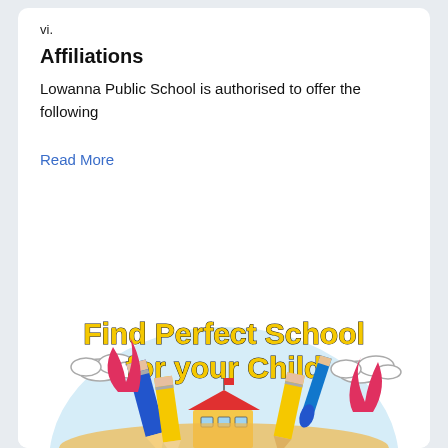vi.
Affiliations
Lowanna Public School is authorised to offer the following
Read More
[Figure (illustration): Promotional illustration for a school finder service. Bold yellow text reads 'Find Perfect School for your Child' with a light blue semicircle background, cartoon clouds, colorful pencils, a paintbrush, and a cartoon school building with a red roof and flag.]